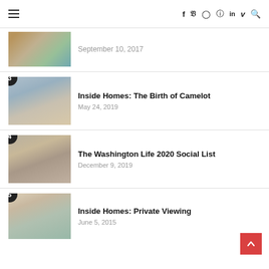Navigation bar with hamburger menu and social icons: f (Facebook), Twitter, Instagram, Pinterest, in (LinkedIn), V (Vimeo), Search
[Figure (photo): Partial view of person holding small animals, cropped at top]
September 10, 2017
[Figure (photo): Man sitting with framed photo and dog, numbered badge 3]
Inside Homes: The Birth of Camelot
May 24, 2019
[Figure (photo): Couple on staircase, numbered badge 4]
The Washington Life 2020 Social List
December 9, 2019
[Figure (photo): Modern interior with lamp, numbered badge 5]
Inside Homes: Private Viewing
June 5, 2015